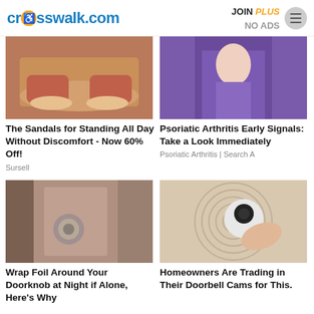crosswalk.com | JOIN PLUS NO ADS
[Figure (photo): Photo of sandals/flip-flops on feet]
The Sandals for Standing All Day Without Discomfort - Now 60% Off!
Sursell
[Figure (photo): Photo related to Psoriatic Arthritis - person in purple leggings]
Psoriatic Arthritis Early Signals: Take a Look Immediately
Psoriatic Arthritis | Search A
[Figure (photo): Photo of a doorknob with foil wrapped around it]
Wrap Foil Around Your Doorknob at Night if Alone, Here's Why
[Figure (photo): Photo of a hand holding a doorbell camera device]
Homeowners Are Trading in Their Doorbell Cams for This.